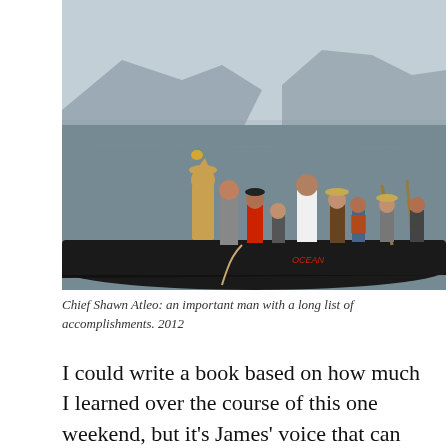[Figure (photo): A group of people in a large black traditional canoe on calm water with misty mountains in the background. Some people are standing, some seated, wearing traditional hats and modern clothing. 2012.]
Chief Shawn Atleo: an important man with a long list of accomplishments. 2012
I could write a book based on how much I learned over the course of this one weekend, but it’s James’ voice that can tell these stories much better than I ever could, and this is why I